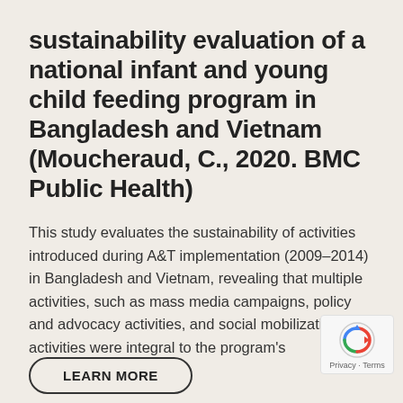sustainability evaluation of a national infant and young child feeding program in Bangladesh and Vietnam (Moucheraud, C., 2020. BMC Public Health)
This study evaluates the sustainability of activities introduced during A&T implementation (2009–2014) in Bangladesh and Vietnam, revealing that multiple activities, such as mass media campaigns, policy and advocacy activities, and social mobilization activities were integral to the program's
LEARN MORE